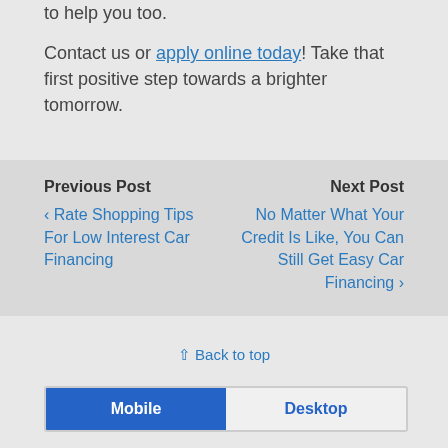to help you too. Contact us or apply online today! Take that first positive step towards a brighter tomorrow.
Previous Post
‹ Rate Shopping Tips For Low Interest Car Financing
Next Post
No Matter What Your Credit Is Like, You Can Still Get Easy Car Financing ›
⇧ Back to top
Mobile | Desktop